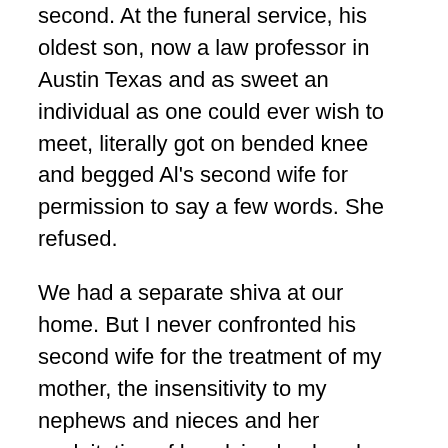second. At the funeral service, his oldest son, now a law professor in Austin Texas and as sweet an individual as one could ever wish to meet, literally got on bended knee and begged Al's second wife for permission to say a few words. She refused.
We had a separate shiva at our home. But I never confronted his second wife for the treatment of my mother, the insensitivity to my nephews and nieces and her exploitation of her dying husband. When he was very sick, she managed to have the will changed so that his children were cut out and she was the sole beneficiary.
That was truly, for me, the suffering of silence. Sometimes silence is appropriate following the death of a loved one. But my silences in their various forms still haunt me and I consider that in each case the silence was inappropriate.